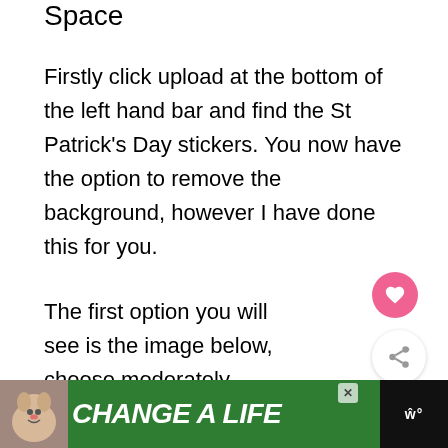Space
Firstly click upload at the bottom of the left hand bar and find the St Patrick’s Day stickers. You now have the option to remove the background, however I have done this for you.
The first option you will see is the image below, choose moderately complex. You wi.. be taken to the select top page, thi: you can remove any background.
[Figure (other): Pink heart button (circle) UI element]
[Figure (other): Share button (circle with share icon) UI element]
[Figure (other): What's Next panel showing Free Cricut Joy St... with a thumbnail]
[Figure (other): Advertisement banner at bottom: green background with dog image, text CHANGE A LIFE, close button, and logo]